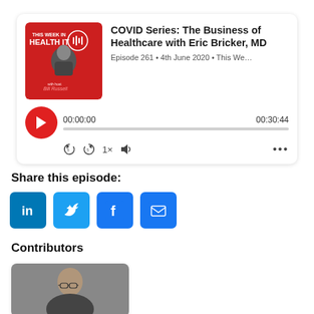[Figure (screenshot): Podcast player card for 'COVID Series: The Business of Healthcare with Eric Bricker, MD', Episode 261, 4th June 2020, This We..., showing podcast thumbnail, play button, progress bar at 00:00:00 of 00:30:44, and playback controls.]
Share this episode:
[Figure (illustration): Four social sharing icon buttons: LinkedIn, Twitter, Facebook, Email (envelope).]
Contributors
[Figure (photo): Headshot of a man with glasses and short hair, professional portrait on grey background.]